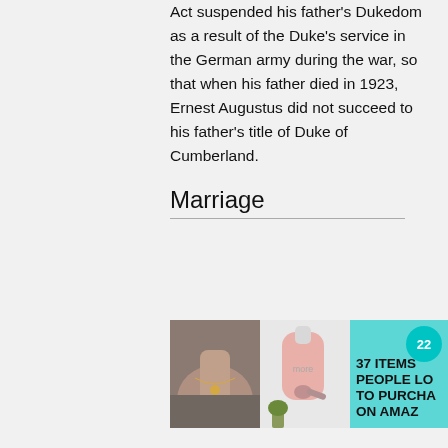Act suspended his father's Dukedom as a result of the Duke's service in the German army during the war, so that when his father died in 1923, Ernest Augustus did not succeed to his father's title of Duke of Cumberland.
Marriage
[Figure (infographic): Advertisement banner with teal background showing two product photos (person wearing necklace, pink toothpaste dispenser), a teal badge with '22', and bold text reading '37 ITEMS PEOPLE LO TO PURCHA ON AMAZ']